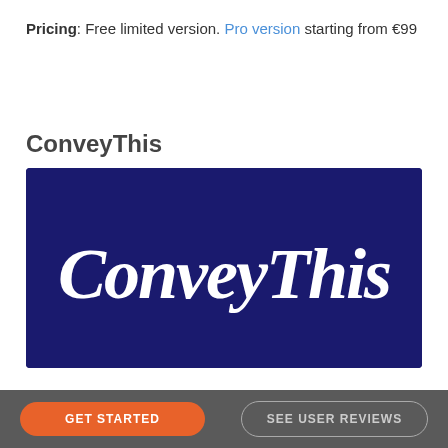Pricing: Free limited version. Pro version starting from €99
ConveyThis
[Figure (logo): ConveyThis logo: white cursive script text 'ConveyThis' on a dark navy blue background rectangle.]
GET STARTED
SEE USER REVIEWS